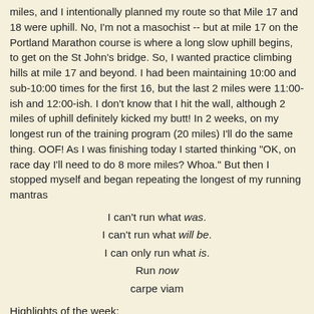miles, and I intentionally planned my route so that Mile 17 and 18 were uphill. No, I'm not a masochist -- but at mile 17 on the Portland Marathon course is where a long slow uphill begins, to get on the St John's bridge. So, I wanted practice climbing hills at mile 17 and beyond. I had been maintaining 10:00 and sub-10:00 times for the first 16, but the last 2 miles were 11:00-ish and 12:00-ish. I don't know that I hit the wall, although 2 miles of uphill definitely kicked my butt! In 2 weeks, on my longest run of the training program (20 miles) I'll do the same thing. OOF! As I was finishing today I started thinking "OK, on race day I'll need to do 8 more miles? Whoa." But then I stopped myself and began repeating the longest of my running mantras
I can't run what was.
I can't run what will be.
I can only run what is.
Run now
carpe viam
Highlights of the week:
1. Running over 37 miles for the week!